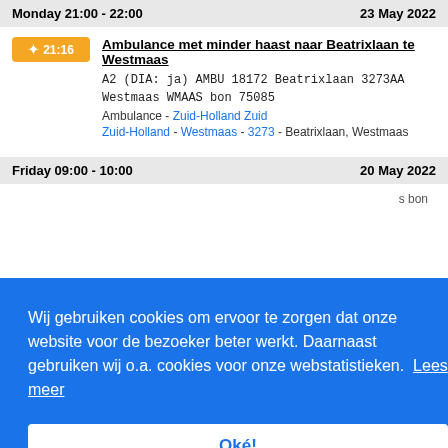Monday 21:00 - 22:00 | 23 May 2022
21:16 - Ambulance met minder haast naar Beatrixlaan te Westmaas
A2 (DIA: ja) AMBU 18172 Beatrixlaan 3273AA
Westmaas WMAAS bon 75085
Ambulance - Zuid-Holland Zuid
Zuid-Holland - Westmaas - 3273 - Beatrixlaan, Westmaas
Friday 09:00 - 10:00 | 20 May 2022
Wij gebruiken cookies om ervoor te zorgen dat onze website voor de bezoeker beter werkt. Daarnaast gebruiken wij o.a. cookies voor onze webstatistieken. Lees meer
Oké!
May 2022
Ambulance, gepland vervoer naar Stabbewond te Westmaas